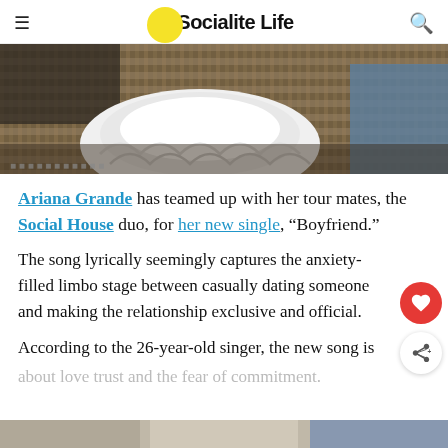Socialite Life
[Figure (photo): Partial image of a person wearing a white ruffled/tulle outfit, sitting on a wicker chair or sofa, with another person partially visible in the background.]
Ariana Grande has teamed up with her tour mates, the Social House duo, for her new single, "Boyfriend."
The song lyrically seemingly captures the anxiety-filled limbo stage between casually dating someone and making the relationship exclusive and official.
According to the 26-year-old singer, the new song is about love trust and the fear of commitment.